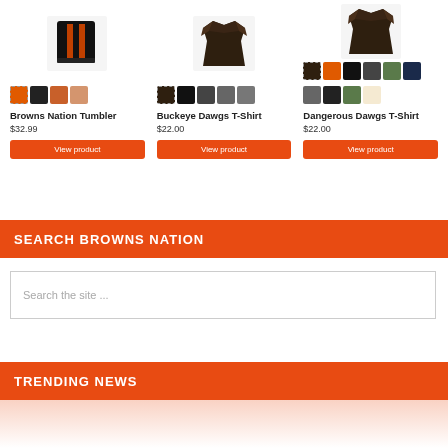[Figure (photo): Browns Nation Tumbler product with orange and black design, shown with color variant thumbnails]
Browns Nation Tumbler
$32.99
View product
[Figure (photo): Buckeye Dawgs T-Shirt in brown/dark color, shown with multiple color variant thumbnails]
Buckeye Dawgs T-Shirt
$22.00
View product
[Figure (photo): Dangerous Dawgs T-Shirt with multiple color variant thumbnails including orange, black, grey, green, navy]
Dangerous Dawgs T-Shirt
$22.00
View product
SEARCH BROWNS NATION
Search the site ...
TRENDING NEWS